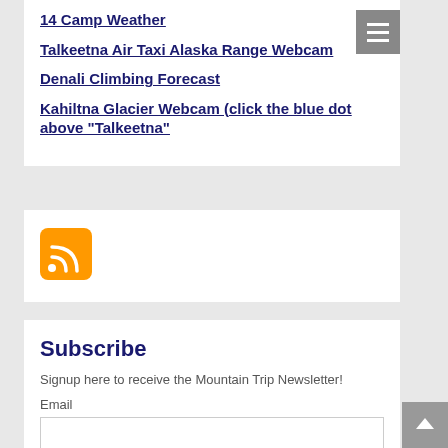14 Camp Weather
Talkeetna Air Taxi Alaska Range Webcam
Denali Climbing Forecast
Kahiltna Glacier Webcam (click the blue dot above "Talkeetna"
[Figure (other): RSS feed icon — orange rounded square with white RSS signal symbol]
Subscribe
Signup here to receive the Mountain Trip Newsletter!
Email